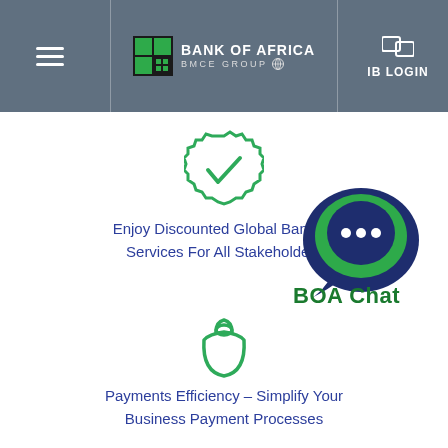Bank of Africa – BMCE Group | IB LOGIN
[Figure (illustration): Green teal badge/seal icon with a checkmark inside, representing verified or discounted banking services]
Enjoy Discounted Global Banking Services For All Stakeholders
[Figure (logo): BOA Chat logo – a layered speech bubble icon in dark blue and green with three dots, labeled 'BOA Chat' in bold green text]
[Figure (illustration): Green teal money bag icon representing payments and business payment processes]
Payments Efficiency – Simplify Your Business Payment Processes